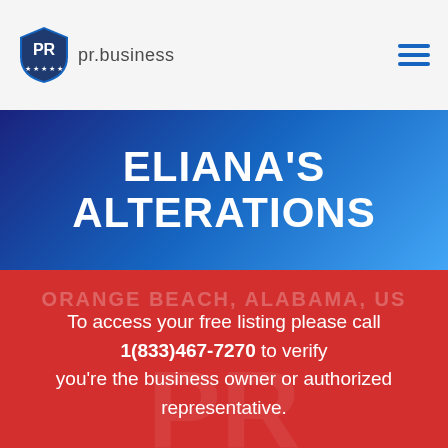pr.business
ELIANA'S ALTERATIONS
ORANGE BEACH, Alabama, US
To access your free listing please call 1(833)467-7270 to verify you're the business owner or authorized representative.